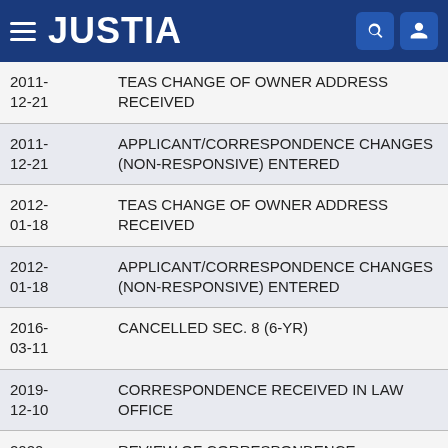JUSTIA
| Date | Event |
| --- | --- |
| 2011-12-21 | TEAS CHANGE OF OWNER ADDRESS RECEIVED |
| 2011-12-21 | APPLICANT/CORRESPONDENCE CHANGES (NON-RESPONSIVE) ENTERED |
| 2012-01-18 | TEAS CHANGE OF OWNER ADDRESS RECEIVED |
| 2012-01-18 | APPLICANT/CORRESPONDENCE CHANGES (NON-RESPONSIVE) ENTERED |
| 2016-03-11 | CANCELLED SEC. 8 (6-YR) |
| 2019-12-10 | CORRESPONDENCE RECEIVED IN LAW OFFICE |
| 2020-01-08 | REVIEW OF CORRESPONDENCE COMPLETE - ADDRESS UPDATED |